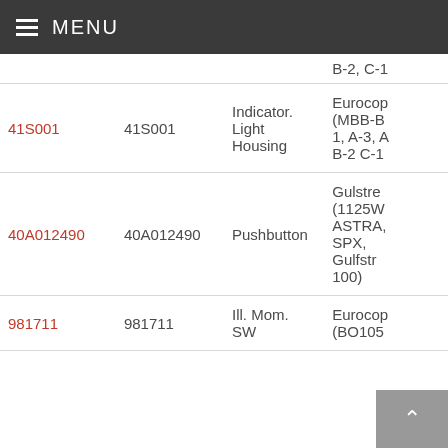MENU
| ID (link) | ID | Description | Aircraft |
| --- | --- | --- | --- |
|  |  |  | B-2, C-1 |
| 41S001 | 41S001 | Indicator. Light Housing | Eurocop (MBB-B 1, A-3, A B-2 C-1 |
| 40A012490 | 40A012490 | Pushbutton | Gulfstr (1125W ASTRA, SPX, Gulfstr 100) |
| 981711 | 981711 | Ill. Mom. SW | Eurocop (BO105 |